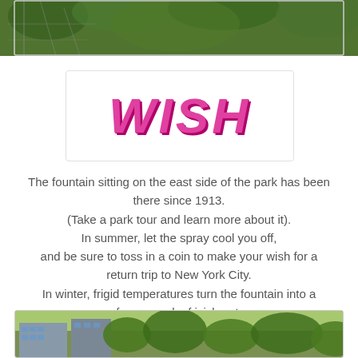[Figure (photo): Top portion of a photo showing an urban park scene with green foliage and metal structures/furniture]
WISH
The fountain sitting on the east side of the park has been there since 1913. (Take a park tour and learn more about it). In summer, let the spray cool you off, and be sure to toss in a coin to make your wish for a return trip to New York City. In winter, frigid temperatures turn the fountain into a frozen work of icicle art.
[Figure (photo): Bottom portion of a photo showing urban buildings with trees in the foreground]